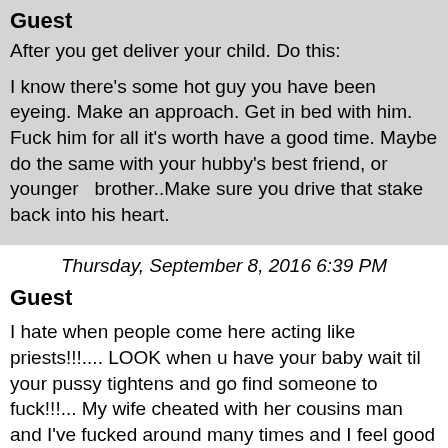Guest
[Figure (other): Teal/green banner button reading 'Tell Us Your Story']
After you get deliver your child. Do this:

I know there's some hot guy you have been eyeing. Make an approach. Get in bed with him. Fuck him for all it's worth have a good time. Maybe do the same with your hubby's best friend, or younger  brother..Make sure you drive that stake back into his heart.
Thursday, September 8, 2016 6:39 PM
Guest
I hate when people come here acting like priests!!!.... LOOK when u have your baby wait til your pussy tightens and go find someone to fuck!!!... My wife cheated with her cousins man and I've fucked around many times and I feel good about it!!.. Fuck all of